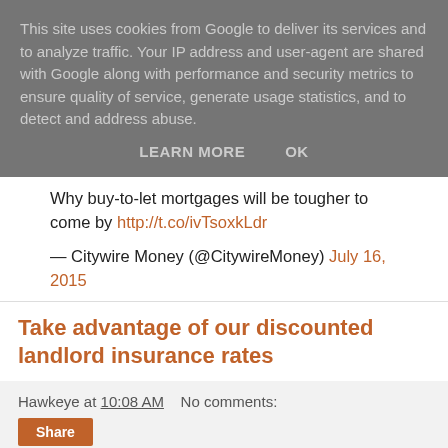This site uses cookies from Google to deliver its services and to analyze traffic. Your IP address and user-agent are shared with Google along with performance and security metrics to ensure quality of service, generate usage statistics, and to detect and address abuse.
LEARN MORE   OK
Why buy-to-let mortgages will be tougher to come by http://t.co/ivTsoxkLdr
— Citywire Money (@CitywireMoney) July 16, 2015
Take advantage of our discounted landlord insurance rates
Hawkeye at 10:08 AM   No comments:
Share